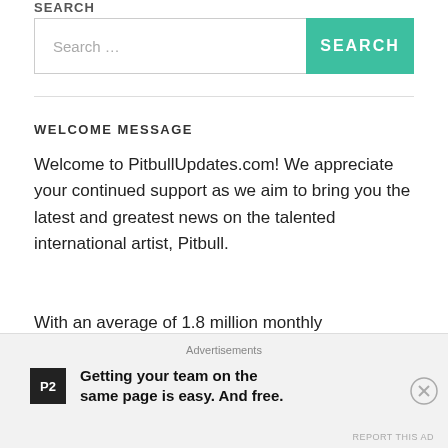SEARCH
Search …
WELCOME MESSAGE
Welcome to PitbullUpdates.com! We appreciate your continued support as we aim to bring you the latest and greatest news on the talented international artist, Pitbull.
With an average of 1.8 million monthly impressions across our website and various social media pages, PBU is the number one leading source for all things Mr.
Advertisements
Getting your team on the same page is easy. And free.